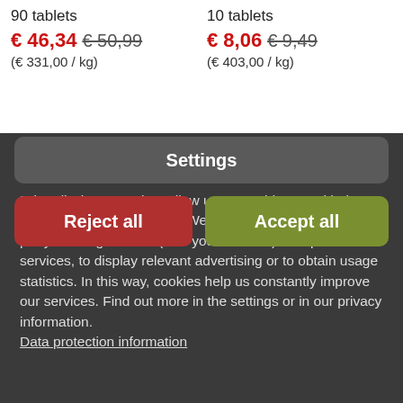90 tablets
€ 46,34 € 50,99
(€ 331,00 / kg)
10 tablets
€ 8,06 € 9,49
(€ 403,00 / kg)
We love cookies
Primarily, because they allow us to provide you with the best shopping experience. We only use cookies or third-party tracking cookies (with your consent) to improve our services, to display relevant advertising or to obtain usage statistics. In this way, cookies help us constantly improve our services. Find out more in the settings or in our privacy information.
Data protection information
Settings
Reject all
Accept all